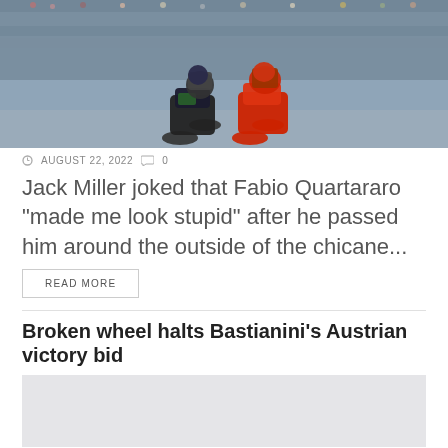[Figure (photo): Two MotoGP motorcycles racing side by side on a circuit, with grandstands full of spectators in the background. One bike is black (Yamaha) and one is red (Ducati).]
AUGUST 22, 2022  0
Jack Miller joked that Fabio Quartararo “made me look stupid” after he passed him around the outside of the chicane...
READ MORE
Broken wheel halts Bastianini’s Austrian victory bid
[Figure (photo): Partially visible photo, appears grey/light, content not fully visible.]